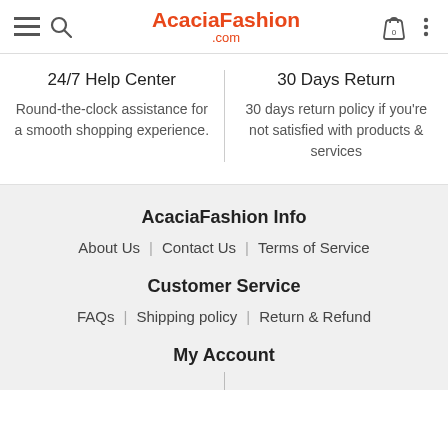AcaciaFashion.com
24/7 Help Center
Round-the-clock assistance for a smooth shopping experience.
30 Days Return
30 days return policy if you're not satisfied with products & services
AcaciaFashion Info
About Us | Contact Us | Terms of Service
Customer Service
FAQs | Shipping policy | Return & Refund
My Account